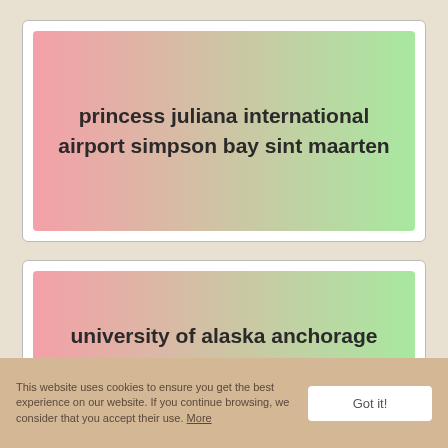princess juliana international airport simpson bay sint maarten
university of alaska anchorage anchorage ak
This website uses cookies to ensure you get the best experience on our website. If you continue browsing, we consider that you accept their use. More
Got it!